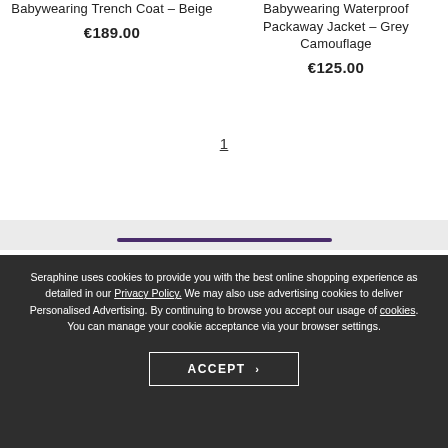Babywearing Trench Coat – Beige
€189.00
Babywearing Waterproof Packaway Jacket – Grey Camouflage
€125.00
1
Seraphine uses cookies to provide you with the best online shopping experience as detailed in our Privacy Policy. We may also use advertising cookies to deliver Personalised Advertising. By continuing to browse you accept our usage of cookies. You can manage your cookie acceptance via your browser settings.
ACCEPT